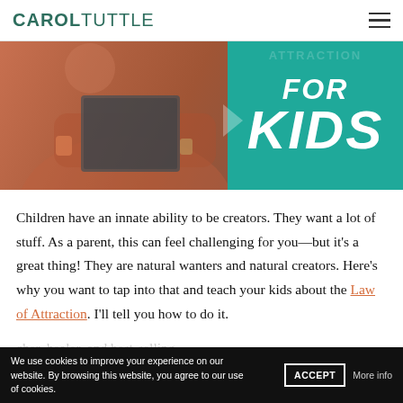CAROL TUTTLE
[Figure (photo): Banner image showing Carol Tuttle holding a book, wearing red/orange clothing with bracelets, next to a teal rectangle with bold italic text 'FOR KIDS']
Children have an innate ability to be creators. They want a lot of stuff. As a parent, this can feel challenging for you—but it's a great thing! They are natural wanters and natural creators. Here's why you want to tap into that and teach your kids about the Law of Attraction. I'll tell you how to do it.
We use cookies to improve your experience on our website. By browsing this website, you agree to our use of cookies.  ACCEPT  More info